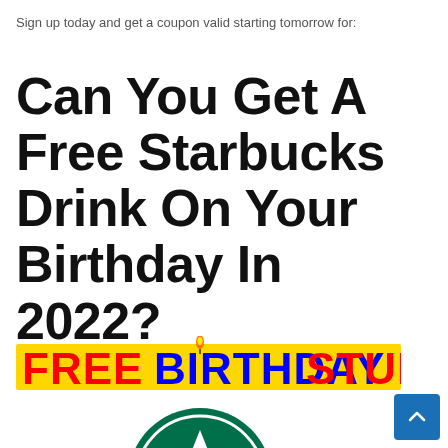Sign up today and get a coupon valid starting tomorrow for:
Can You Get A Free Starbucks Drink On Your Birthday In 2022?
[Figure (illustration): FREE BIRTHDAY STUFF banner text in red and blue with a candle above the letter I, styled in bold comic/display font]
[Figure (logo): Starbucks logo - green circular logo with white star/mermaid figure, partially visible at bottom of page]